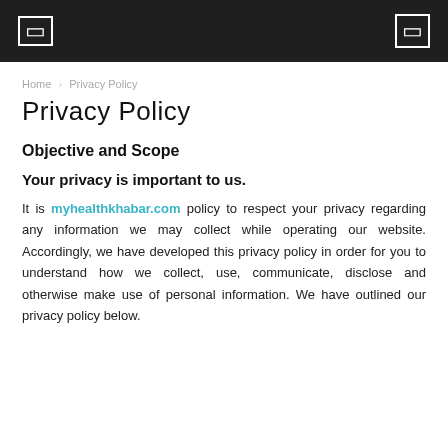[ ] [ ]
Home › Privacy Policy
Privacy Policy
Objective and Scope
Your privacy is important to us.
It is myhealthkhabar.com policy to respect your privacy regarding any information we may collect while operating our website. Accordingly, we have developed this privacy policy in order for you to understand how we collect, use, communicate, disclose and otherwise make use of personal information. We have outlined our privacy policy below.